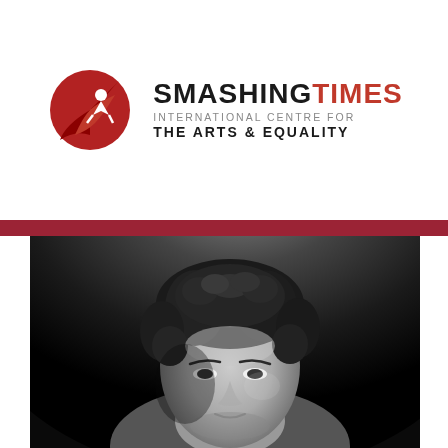[Figure (logo): Smashing Times International Centre for the Arts & Equality logo with red circular figure icon and text]
[Figure (photo): Black and white vintage portrait photograph of a woman with curly dark hair, shown from approximately shoulders up, looking slightly upward]